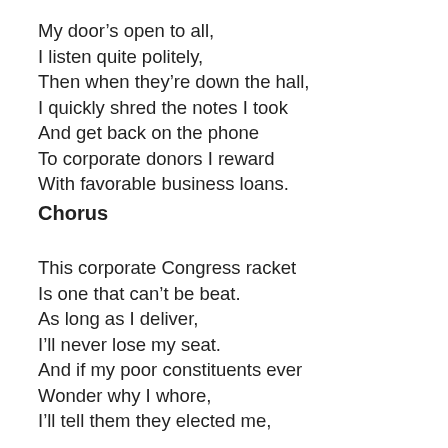My door's open to all,
I listen quite politely,
Then when they're down the hall,
I quickly shred the notes I took
And get back on the phone
To corporate donors I reward
With favorable business loans.
Chorus
This corporate Congress racket
Is one that can't be beat.
As long as I deliver,
I'll never lose my seat.
And if my poor constituents ever
Wonder why I whore,
I'll tell them they elected me,